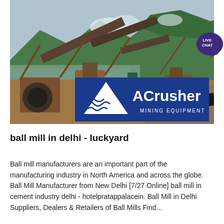[Figure (photo): Industrial mining/crushing equipment site with conveyor belts, large machinery, river and green mountains in background. ACrusher Mining Equipment logo overlaid at bottom of photo.]
ball mill in delhi - luckyard
Ball mill manufacturers are an important part of the manufacturing industry in North America and across the globe. Ball Mill Manufacturer from New Delhi [7/27 Online] ball mill in cement industry delhi - hotelpratappalacein. Ball Mill in Delhi Suppliers, Dealers & Retailers of Ball Mills Find...